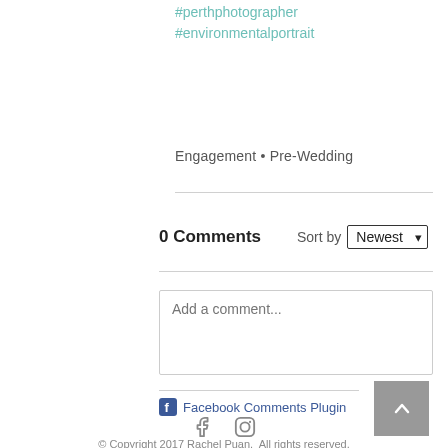#perthphotographer
#environmentalportrait
Engagement • Pre-Wedding
0 Comments   Sort by Newest
[Figure (screenshot): Comment text input box with placeholder text 'Add a comment...']
Facebook Comments Plugin
[Figure (illustration): Back to top button with upward chevron arrow on grey background]
[Figure (logo): Social media icons: Facebook and Instagram]
© Copyright 2017 Rachel Puan.  All rights reserved.